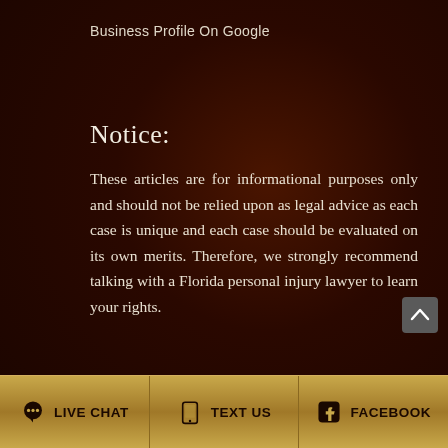Business Profile On Google
Notice:
These articles are for informational purposes only and should not be relied upon as legal advice as each case is unique and each case should be evaluated on its own merits. Therefore, we strongly recommend talking with a Florida personal injury lawyer to learn your rights.
LIVE CHAT   TEXT US   FACEBOOK